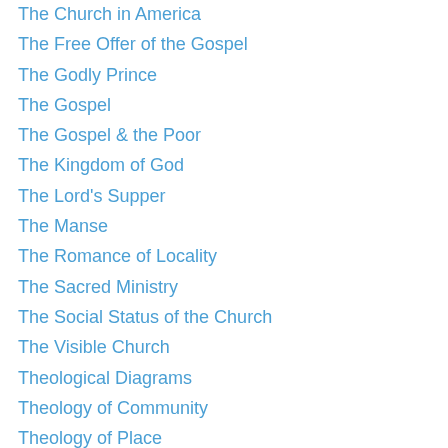The Church in America
The Free Offer of the Gospel
The Godly Prince
The Gospel
The Gospel & the Poor
The Kingdom of God
The Lord's Supper
The Manse
The Romance of Locality
The Sacred Ministry
The Social Status of the Church
The Visible Church
Theological Diagrams
Theology of Community
Theology of Place
Theology Proper
Thomas Boston
Thomas Chalmers
Thomas Guthrie
Transgenerational Faith